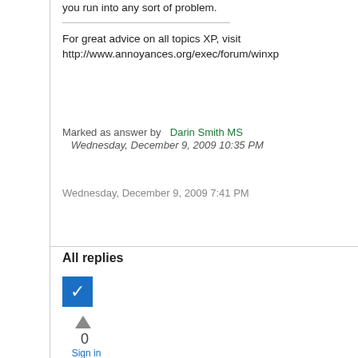you run into any sort of problem.
For great advice on all topics XP, visit http://www.annoyances.org/exec/forum/winxp
Marked as answer by  Darin Smith MS  Wednesday, December 9, 2009 10:35 PM
Wednesday, December 9, 2009 7:41 PM
All replies
[Figure (other): Blue checkbox with white checkmark indicating marked answer]
0
Sign in to vote